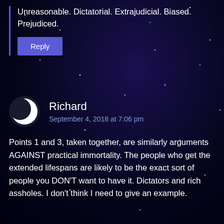Unreasonable. Dictatorial. Extrajudicial. Biased. Prejudiced.
Reply
Richard
September 4, 2018 at 7:06 pm
Points 1 and 3, taken together, are similarly arguments AGAINST practical immortality. The people who get the extended lifespans are likely to be the exact sort of people you DON'T want to have it. Dictators and rich assholes. I don't think I need to give an example.